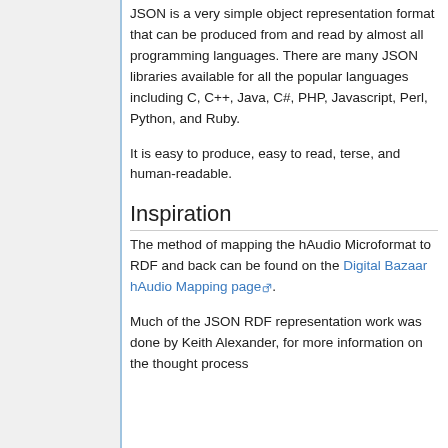JSON is a very simple object representation format that can be produced from and read by almost all programming languages. There are many JSON libraries available for all the popular languages including C, C++, Java, C#, PHP, Javascript, Perl, Python, and Ruby.
It is easy to produce, easy to read, terse, and human-readable.
Inspiration
The method of mapping the hAudio Microformat to RDF and back can be found on the Digital Bazaar hAudio Mapping page.
Much of the JSON RDF representation work was done by Keith Alexander, for more information on the thought process